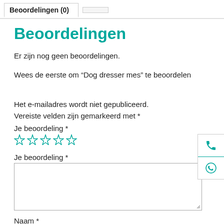Beoordelingen (0)
Beoordelingen
Er zijn nog geen beoordelingen.
Wees de eerste om “Dog dresser mes” te beoordelen
Het e-mailadres wordt niet gepubliceerd. Vereiste velden zijn gemarkeerd met *
Je beoordeling *
[Figure (other): Five empty star rating icons in teal/outline style]
Je beoordeling *
Naam *
[Figure (other): Floating contact buttons: phone icon and WhatsApp icon in teal]